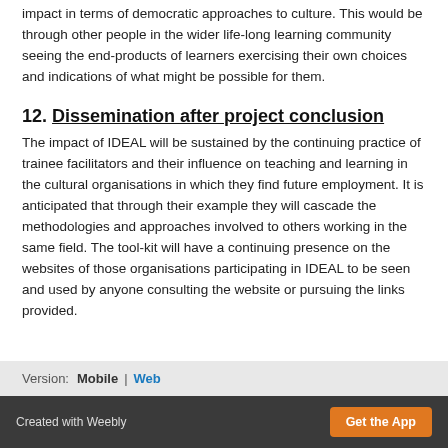impact in terms of democratic approaches to culture. This would be through other people in the wider life-long learning community seeing the end-products of learners exercising their own choices and indications of what might be possible for them.
12. Dissemination after project conclusion
The impact of IDEAL will be sustained by the continuing practice of trainee facilitators and their influence on teaching and learning in the cultural organisations in which they find future employment. It is anticipated that through their example they will cascade the methodologies and approaches involved to others working in the same field. The tool-kit will have a continuing presence on the websites of those organisations participating in IDEAL to be seen and used by anyone consulting the website or pursuing the links provided.
Version: Mobile | Web
Created with Weebly  Get the App